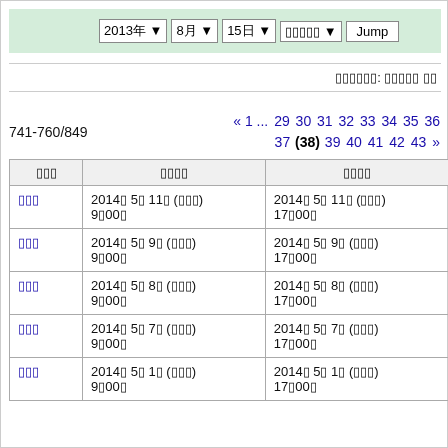2013年 8月 15日 ▼ □□□□□ ▼ Jump
□□□□□□: □□□□□ □□
741-760/849
« 1 ... 29 30 31 32 33 34 35 36 37 (38) 39 40 41 42 43 »
| □□□ | □□□□ | □□□□ |
| --- | --- | --- |
| □□□ | 2014□ 5□ 11□ (□□□) 9□00□ | 2014□ 5□ 11□ (□□□) 17□00□ |
| □□□ | 2014□ 5□ 9□ (□□□) 9□00□ | 2014□ 5□ 9□ (□□□) 17□00□ |
| □□□ | 2014□ 5□ 8□ (□□□) 9□00□ | 2014□ 5□ 8□ (□□□) 17□00□ |
| □□□ | 2014□ 5□ 7□ (□□□) 9□00□ | 2014□ 5□ 7□ (□□□) 17□00□ |
| □□□ | 2014□ 5□ 1□ (□□□) 9□00□ | 2014□ 5□ 1□ (□□□) 17□00□ |